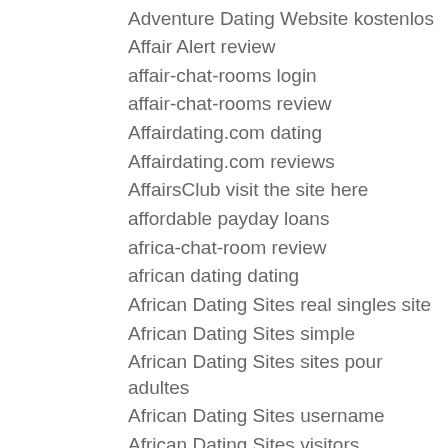Adventure Dating Website kostenlos
Affair Alert review
affair-chat-rooms login
affair-chat-rooms review
Affairdating.com dating
Affairdating.com reviews
AffairsClub visit the site here
affordable payday loans
africa-chat-room review
african dating dating
African Dating Sites real singles site
African Dating Sites simple
African Dating Sites sites pour adultes
African Dating Sites username
African Dating Sites visitors
African Dating Sites want site reviews
African Dating Sites Website kostenlos
AfricanLove visit the site here
africke seznamky crossdresser